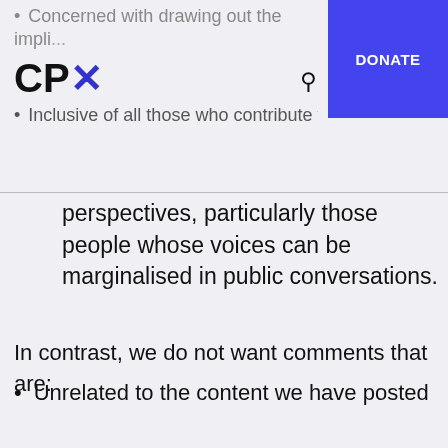CPX logo with DONATE button, search and menu icons
Concerned with drawing out the impli[cations of ideas discussed in our conte...]
Inclusive of all those who contribute [different] perspectives, particularly those people whose voices can be marginalised in public conversations.
In contrast, we do not want comments that are:
Unrelated to the content we have posted and/or are instead an off-topic response to the content's subject matter, image or headline
Statements of opinion expressed as if they are fact
Derisive, or attacking of others who express...